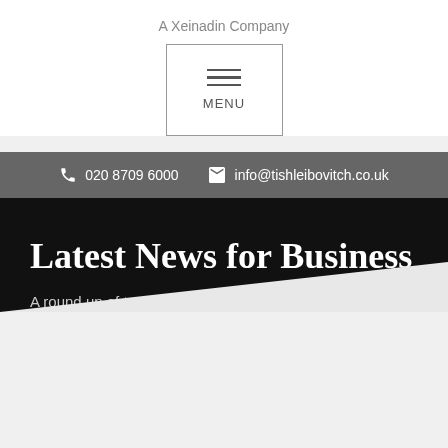A Xeinadin Company
[Figure (screenshot): Menu navigation button with hamburger icon (three horizontal lines) inside a bordered box, labeled MENU]
020 8709 6000   info@tishleibovitch.co.uk
Latest News for Business
A round up of topical news articles.